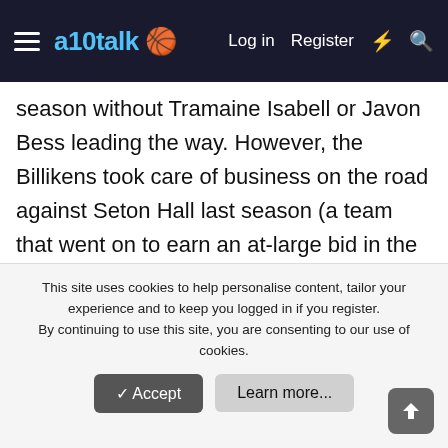a10talk — Log in  Register
season without Tramaine Isabell or Javon Bess leading the way. However, the Billikens took care of business on the road against Seton Hall last season (a team that went on to earn an at-large bid in the NCAA Tournament), and I think this makes for an interesting rematch at Chaifetz Arena. Myles Powell is returning for the Pirates, and if you watched last season's contest, you may remember Javon Bess basically shut him down en route to the upset victory. Seton Hall is a probable top 15 team this year as it returns nearly everyone, and Saint Louis is going to have a more difficult
This site uses cookies to help personalise content, tailor your experience and to keep you logged in if you register.
By continuing to use this site, you are consenting to our use of cookies.
✓ Accept   Learn more...